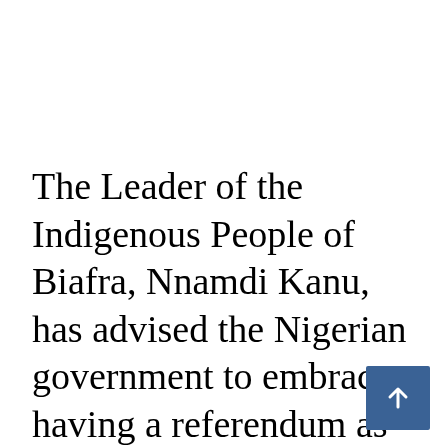The Leader of the Indigenous People of Biafra, Nnamdi Kanu, has advised the Nigerian government to embrace having a referendum as